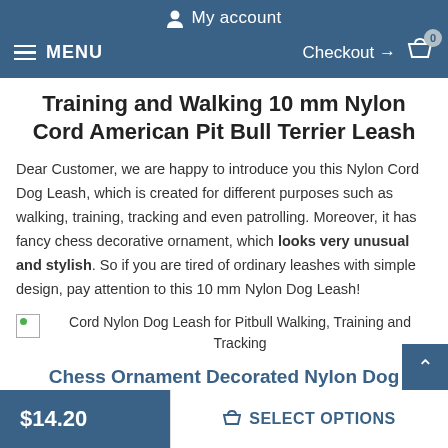My account
MENU   Checkout → 0
Training and Walking 10 mm Nylon Cord American Pit Bull Terrier Leash
Dear Customer, we are happy to introduce you this Nylon Cord Dog Leash, which is created for different purposes such as walking, training, tracking and even patrolling. Moreover, it has fancy chess decorative ornament, which looks very unusual and stylish. So if you are tired of ordinary leashes with simple design, pay attention to this 10 mm Nylon Dog Leash!
[Figure (photo): Cord Nylon Dog Leash for Pitbull Walking, Training and Tracking]
Cord Nylon Dog Leash for Pitbull Walking, Training and Tracking
Chess Ornament Decorated Nylon Dog
$14.20
SELECT OPTIONS